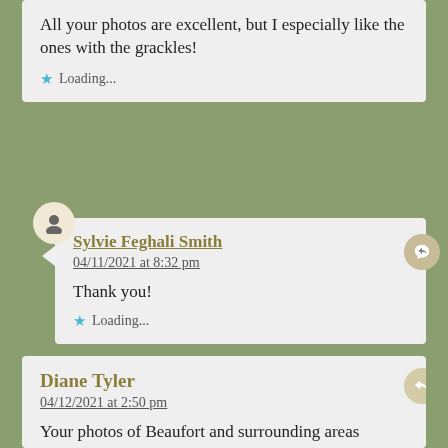All your photos are excellent, but I especially like the ones with the grackles!
Loading...
Sylvie Feghali Smith
04/11/2021 at 8:32 pm
Thank you!
Loading...
Diane Tyler
04/12/2021 at 2:50 pm
Your photos of Beaufort and surrounding areas are stunning !
Loading...